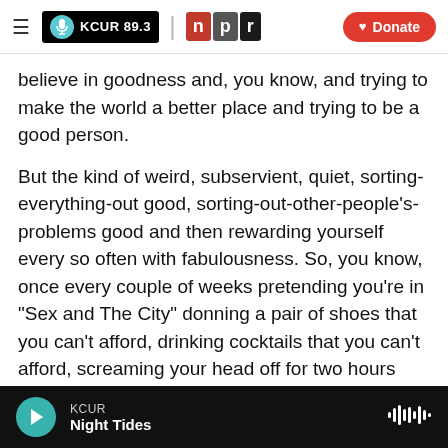KCUR 89.3 | npr | Donate
believe in goodness and, you know, and trying to make the world a better place and trying to be a good person.
But the kind of weird, subservient, quiet, sorting-everything-out good, sorting-out-other-people's-problems good and then rewarding yourself every so often with fabulousness. So, you know, once every couple of weeks pretending you're in "Sex and The City" donning a pair of shoes that you can't afford, drinking cocktails that you can't afford, screaming your head off for two hours and then going home.
KCUR Night Tides